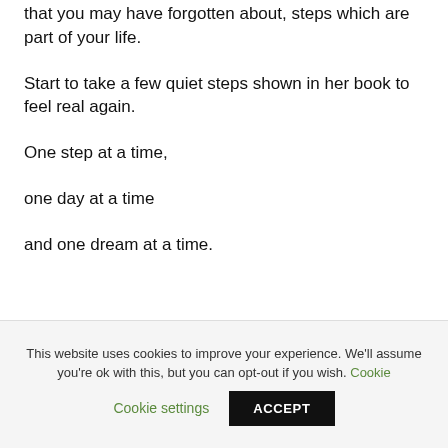that you may have forgotten about, steps which are part of your life.
Start to take a few quiet steps shown in her book to feel real again.
One step at a time,
one day at a time
and one dream at a time.
This website uses cookies to improve your experience. We'll assume you're ok with this, but you can opt-out if you wish. Cookie settings ACCEPT